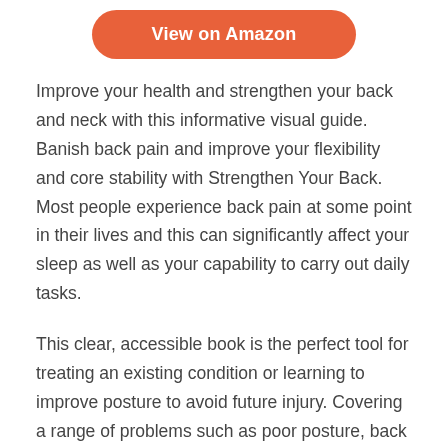[Figure (other): Orange rounded button with text 'View on Amazon']
Improve your health and strengthen your back and neck with this informative visual guide. Banish back pain and improve your flexibility and core stability with Strengthen Your Back. Most people experience back pain at some point in their lives and this can significantly affect your sleep as well as your capability to carry out daily tasks.
This clear, accessible book is the perfect tool for treating an existing condition or learning to improve posture to avoid future injury. Covering a range of problems such as poor posture, back pain, neck pain, and recurring injuries, this helpful handbook provides clear step-by-step advice for complete wellness, right from identifying the anatomy of the spine to performing exercises for maintenance